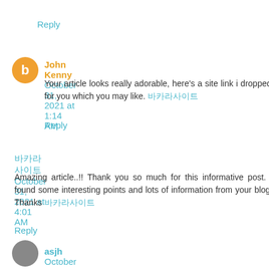Reply
John Kenny  October 31, 2021 at 1:14 AM
Your article looks really adorable, here's a site link i dropped for you which you may like. 바카라사이트
Reply
바카라사이트  October 31, 2021 at 4:01 AM
Amazing article..!! Thank you so much for this informative post. I found some interesting points and lots of information from your blog. Thanks 바카라사이트
Reply
asjh  October 31, 2021 at 5:52 AM